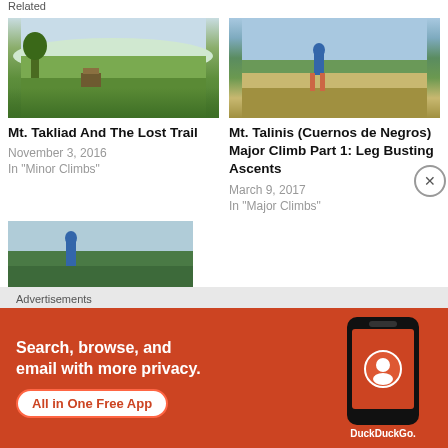Related
[Figure (photo): Green rice fields with palm trees and a hut in the background under a cloudy sky]
Mt. Takliad And The Lost Trail
November 3, 2016
In "Minor Climbs"
[Figure (photo): Hiker with blue backpack standing on a mountain ridge overlooking vast green landscape under cloudy sky]
Mt. Talinis (Cuernos de Negros) Major Climb Part 1: Leg Busting Ascents
March 9, 2017
In "Major Climbs"
[Figure (photo): Person in blue jacket on a mountain top with lush green hills in background]
Advertisements
[Figure (screenshot): DuckDuckGo advertisement banner: Search, browse, and email with more privacy. All in One Free App. Shows phone mockup with DuckDuckGo logo.]